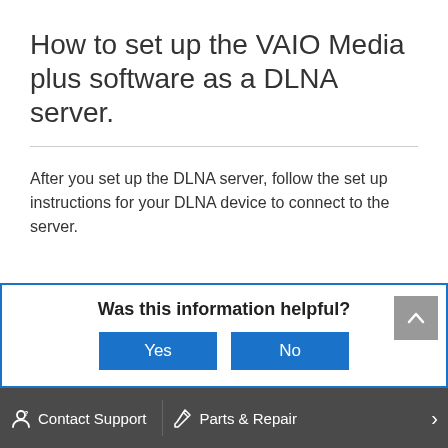How to set up the VAIO Media plus software as a DLNA server.
After you set up the DLNA server, follow the set up instructions for your DLNA device to connect to the server.
Was this information helpful?
Contact Support  Parts & Repair